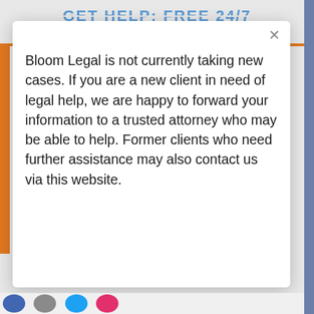GET HELP: FREE 24/7 CONSULTATION
Bloom Legal is not currently taking new cases. If you are a new client in need of legal help, we are happy to forward your information to a trusted attorney who may be able to help. Former clients who need further assistance may also contact us via this website.